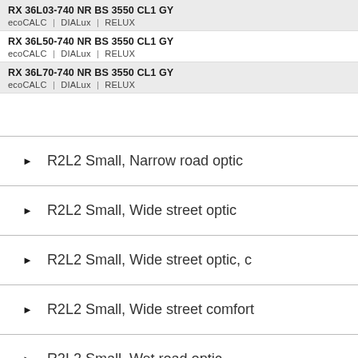RX 36L03-740 NR BS 3550 CL1 GY
ecoCALC | DIALux | RELUX
RX 36L50-740 NR BS 3550 CL1 GY
ecoCALC | DIALux | RELUX
RX 36L70-740 NR BS 3550 CL1 GY
ecoCALC | DIALux | RELUX
R2L2 Small, Narrow road optic
R2L2 Small, Wide street optic
R2L2 Small, Wide street optic, c…
R2L2 Small, Wide street comfort
R2L2 Small, Wet road optic
R2L2 Small, Road comfort optic